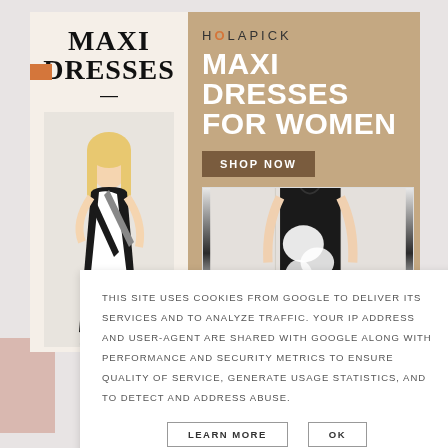[Figure (photo): Advertisement banner for Holapick Maxi Dresses for Women, featuring two fashion photos of women in black and white maxi dresses, with 'SHOP NOW' button on a tan/brown background]
MAXI DRESSES
HOLAPICK MAXI DRESSES FOR WOMEN
SHOP NOW
THIS SITE USES COOKIES FROM GOOGLE TO DELIVER ITS SERVICES AND TO ANALYZE TRAFFIC. YOUR IP ADDRESS AND USER-AGENT ARE SHARED WITH GOOGLE ALONG WITH PERFORMANCE AND SECURITY METRICS TO ENSURE QUALITY OF SERVICE, GENERATE USAGE STATISTICS, AND TO DETECT AND ADDRESS ABUSE.
LEARN MORE
OK